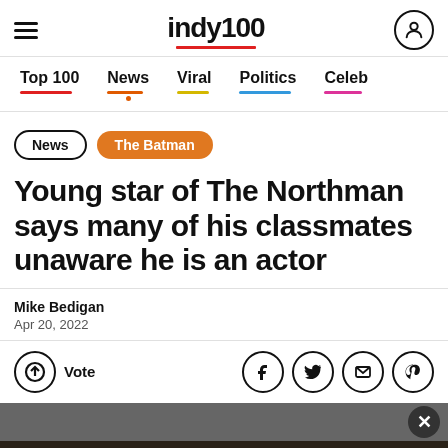indy100
Top 100 | News | Viral | Politics | Celeb
News
The Batman
Young star of The Northman says many of his classmates unaware he is an actor
Mike Bedigan
Apr 20, 2022
Vote